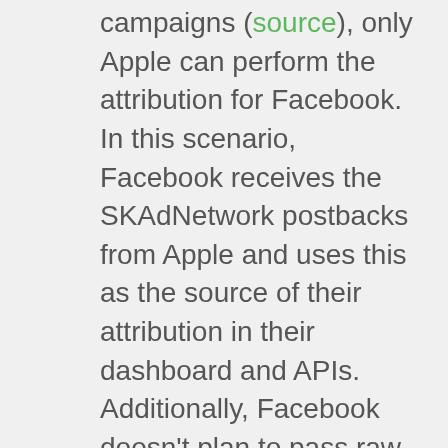campaigns (source), only Apple can perform the attribution for Facebook. In this scenario, Facebook receives the SKAdNetwork postbacks from Apple and uses this as the source of their attribution in their dashboard and APIs. Additionally, Facebook doesn't plan to pass raw SKAdNetwork postbacks to any third parties, including Facebook MMPs. That means that both Facebook MMPs and non-MMPs (developers in general) are on equal footing in building analytics on top of Facebook's marketing APIs. Both will use the same available data from